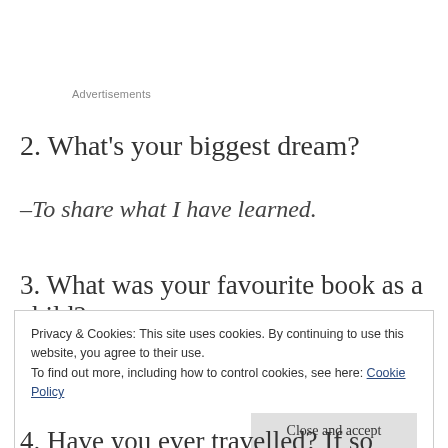Advertisements
2. What's your biggest dream?
–To share what I have learned.
3. What was your favourite book as a child?
Privacy & Cookies: This site uses cookies. By continuing to use this website, you agree to their use.
To find out more, including how to control cookies, see here: Cookie Policy
Close and accept
4. Have you ever travelled? If so where?